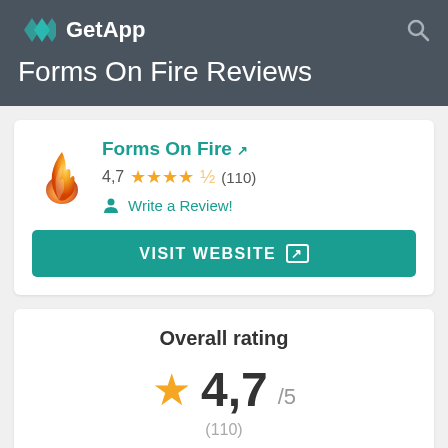GetApp
Forms On Fire Reviews
[Figure (logo): Forms On Fire app logo with orange flame icon and teal app name text, star rating 4.7 (110 reviews), Write a Review link, and Visit Website button]
Overall rating
4,7/5 (110)
Value for Money  4,8/5